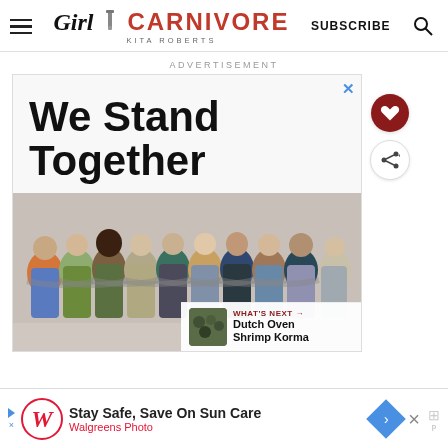Girl Carnivore - Kita Roberts | SUBSCRIBE
ADVERTISEMENT
[Figure (screenshot): Advertisement banner showing 'We Stand Together' text over photo of diverse group of people standing arm in arm, seen from behind]
[Figure (infographic): What's Next callout: Dutch Oven Shrimp Korma with thumbnail image]
[Figure (screenshot): Bottom banner ad: Walgreens Photo - Stay Safe, Save On Sun Care]